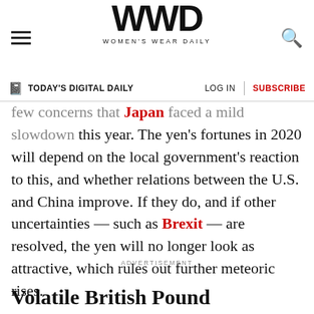WWD WOMEN'S WEAR DAILY
TODAY'S DIGITAL DAILY | LOG IN | SUBSCRIBE
few concerns that Japan faced a mild slowdown this year. The yen's fortunes in 2020 will depend on the local government's reaction to this, and whether relations between the U.S. and China improve. If they do, and if other uncertainties — such as Brexit — are resolved, the yen will no longer look as attractive, which rules out further meteoric rises.
ADVERTISEMENT
Volatile British Pound